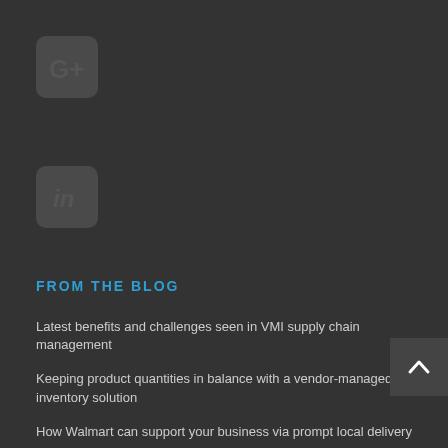[Figure (logo): Google+ social media icon button — rounded square with G+ symbol]
[Figure (logo): LinkedIn social media icon button — rounded square with 'in' symbol]
FROM THE BLOG
Latest benefits and challenges seen in VMI supply chain management
Keeping product quantities in balance with a vendor-managed inventory solution
How Walmart can support your business via prompt local delivery
8 Benefits You'll Enjoy After Employing EDI 846 Inventory Inquiry